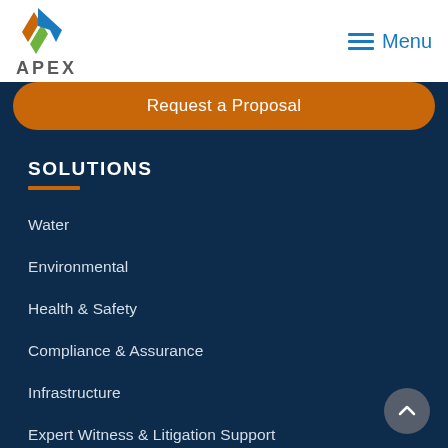APEX — Menu
Request a Proposal
SOLUTIONS
Water
Environmental
Health & Safety
Compliance & Assurance
Infrastructure
Expert Witness & Litigation Support